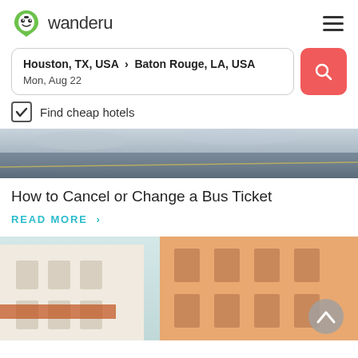wanderu
Houston, TX, USA › Baton Rouge, LA, USA
Mon, Aug 22
Find cheap hotels
[Figure (photo): Road/highway photo strip, partial view showing asphalt and a yellow road marking]
How to Cancel or Change a Bus Ticket
READ MORE ›
[Figure (photo): Street-level photo of European-style building facades with warm orange/tan tones]